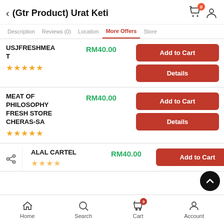(Gtr Product) Urat Keti
Description | Reviews (0) | Location | More Offers | Store
USJFRESHMEAT
RM40.00
★★★★★
Add to Cart | Details
MEAT OF PHILOSOPHY FRESH STORE CHERAS-SA
RM40.00
★★★★★
Add to Cart | Details
ALAL CARTEL
RM40.00
Add to Cart
Home | Search | Cart | Account